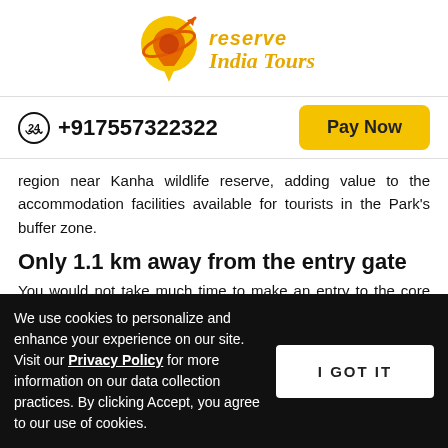[Figure (logo): Reserve India Tours logo with orange/yellow planet/map-pin icon and stylized text]
+917557322322
Pay Now
region near Kanha wildlife reserve, adding value to the accommodation facilities available for tourists in the Park's buffer zone.
Only 1.1 km away from the entry gate
You would not take much time to make an entry to the core area of Kanha National Park when you live in the Resort.
We use cookies to personalize and enhance your experience on our site. Visit our Privacy Policy for more information on our data collection practices. By clicking Accept, you agree to our use of cookies.
I GOT IT